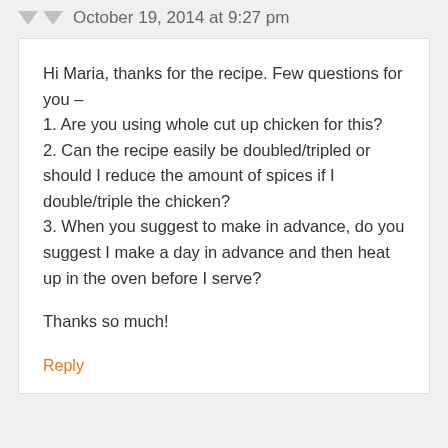October 19, 2014 at 9:27 pm
Hi Maria, thanks for the recipe. Few questions for you –
1. Are you using whole cut up chicken for this?
2. Can the recipe easily be doubled/tripled or should I reduce the amount of spices if I double/triple the chicken?
3. When you suggest to make in advance, do you suggest I make a day in advance and then heat up in the oven before I serve?
Thanks so much!
Reply